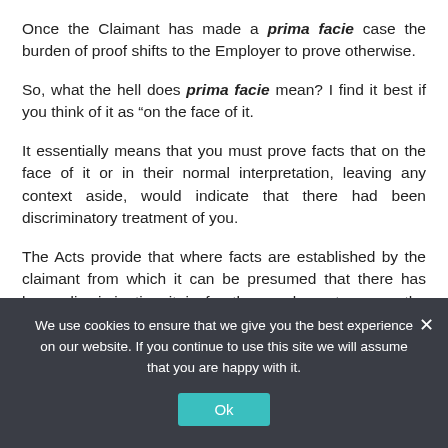Once the Claimant has made a prima facie case the burden of proof shifts to the Employer to prove otherwise.
So, what the hell does prima facie mean? I find it best if you think of it as “on the face of it.
It essentially means that you must prove facts that on the face of it or in their normal interpretation, leaving any context aside, would indicate that there had been discriminatory treatment of you.
The Acts provide that where facts are established by the claimant from which it can be presumed that there has been discrimination it is for the employer to prove the contrary. The claimant therefore must, in the first
We use cookies to ensure that we give you the best experience on our website. If you continue to use this site we will assume that you are happy with it.